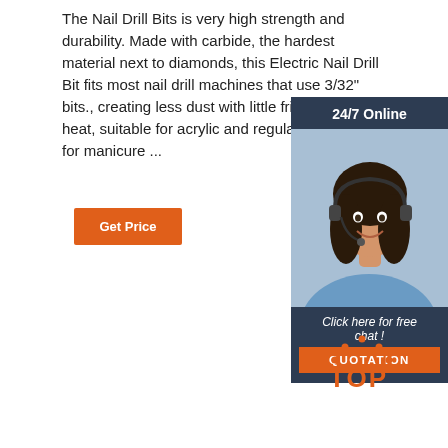The Nail Drill Bits is very high strength and durability. Made with carbide, the hardest material next to diamonds, this Electric Nail Drill Bit fits most nail drill machines that use 3/32" bits., creating less dust with little friction and heat, suitable for acrylic and regular nails, great for manicure ...
[Figure (other): Orange 'Get Price' button]
[Figure (infographic): 24/7 Online chat widget with a customer service representative photo, dark blue header saying '24/7 Online', italic text 'Click here for free chat!', and an orange QUOTATION button]
[Figure (logo): Orange TOP logo with dotted arc above the letters T-O-P in orange color]